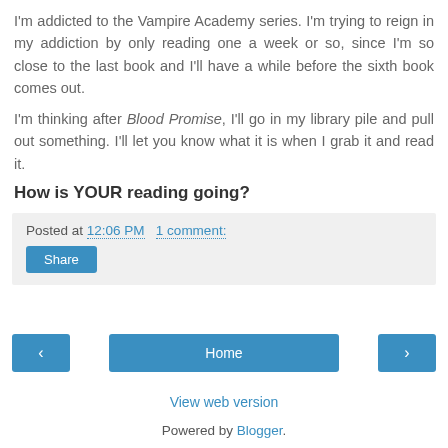I'm addicted to the Vampire Academy series. I'm trying to reign in my addiction by only reading one a week or so, since I'm so close to the last book and I'll have a while before the sixth book comes out.
I'm thinking after Blood Promise, I'll go in my library pile and pull out something. I'll let you know what it is when I grab it and read it.
How is YOUR reading going?
Posted at 12:06 PM    1 comment:
Share
< Home >
View web version
Powered by Blogger.